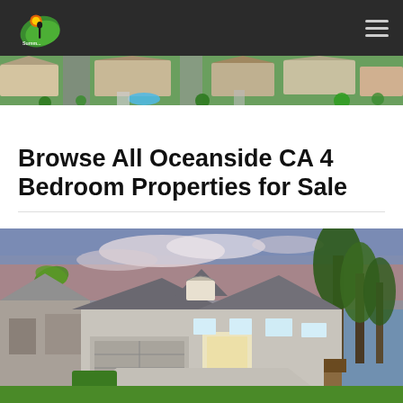Navigation bar with logo and hamburger menu
[Figure (photo): Aerial drone view of a suburban neighborhood with houses, pools, green trees, and driveways]
Browse All Oceanside CA 4 Bedroom Properties for Sale
[Figure (photo): Exterior photo of a two-story gray home with a double garage, illuminated windows, palm trees, manicured hedges, and a pink-blue sunset sky]